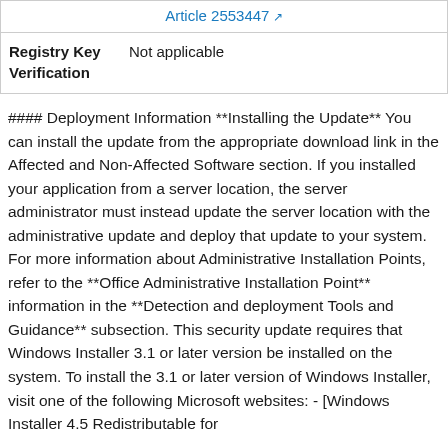| Article 2553447 ↗ |
| Registry Key Verification | Not applicable |
#### Deployment Information **Installing the Update** You can install the update from the appropriate download link in the Affected and Non-Affected Software section. If you installed your application from a server location, the server administrator must instead update the server location with the administrative update and deploy that update to your system. For more information about Administrative Installation Points, refer to the **Office Administrative Installation Point** information in the **Detection and deployment Tools and Guidance** subsection. This security update requires that Windows Installer 3.1 or later version be installed on the system. To install the 3.1 or later version of Windows Installer, visit one of the following Microsoft websites: - [Windows Installer 4.5 Redistributable for